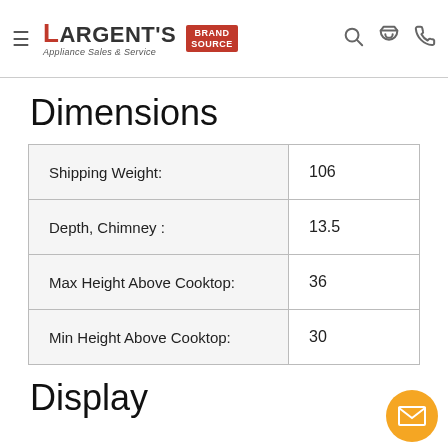Largent's Appliance Sales & Service — Brand Source
Dimensions
|  |  |
| --- | --- |
| Shipping Weight: | 106 |
| Depth, Chimney : | 13.5 |
| Max Height Above Cooktop: | 36 |
| Min Height Above Cooktop: | 30 |
Display